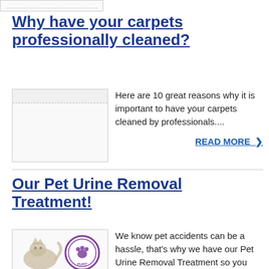[Figure (other): Top strip showing partial image/thumbnail at top of page]
Why have your carpets professionally cleaned?
[Figure (other): Placeholder thumbnail image for carpet cleaning article]
Here are 10 great reasons why it is important to have your carpets cleaned by professionals....
READ MORE ❯
Our Pet Urine Removal Treatment!
[Figure (photo): Photo of a cat/pet with a PURT (Pet Urine Removal Treatment) circular badge/logo]
We know pet accidents can be a hassle, that's why we have our Pet Urine Removal Treatment so you don't have to worry about the